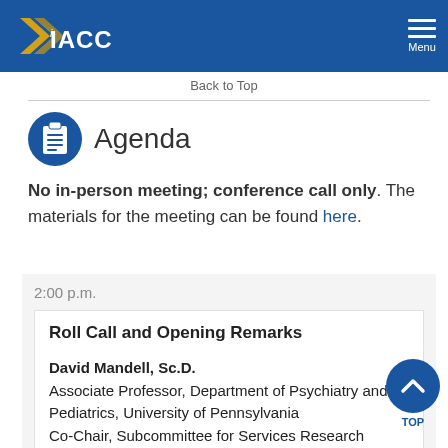IACC Menu
Back to Top
Agenda
No in-person meeting; conference call only. The materials for the meeting can be found here.
2:00 p.m.
Roll Call and Opening Remarks
David Mandell, Sc.D.
Associate Professor, Department of Psychiatry and Pediatrics, University of Pennsylvania
Co-Chair, Subcommittee for Services Research